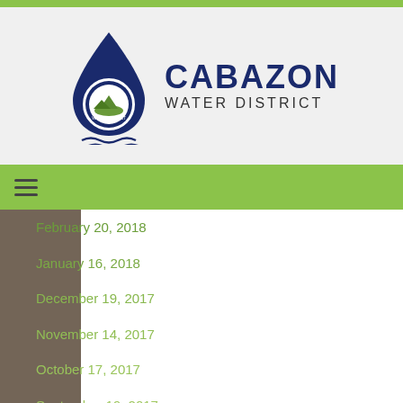[Figure (logo): Cabazon Water District logo with water drop icon containing circular seal and text, next to 'CABAZON WATER DISTRICT' text]
February 20, 2018
January 16, 2018
December 19, 2017
November 14, 2017
October 17, 2017
September 19, 2017
August 15, 2017
August 9, 2017 Special Meeting